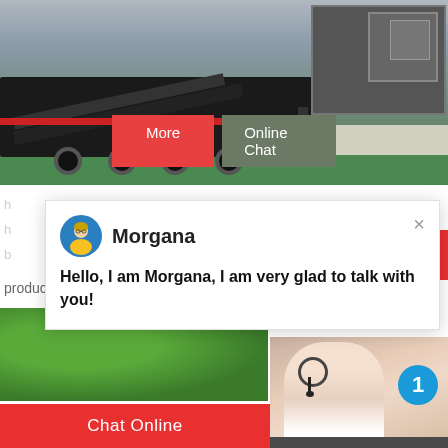[Figure (photo): Mobile crushing/screening plant on trailer with conveyor belt, industrial machinery in a warehouse/factory setting]
More
Online Chat
[Figure (screenshot): Chat popup from Morgana: Hello, I am Morgana, I am very glad to talk with you!]
production line; hot sale flotation machine fo
flotation machine; hot sale machine thickener
[Figure (photo): Green trees/foliage image at bottom left]
[Figure (photo): Customer service representative with headset, badge with number 1]
Need questions & suggestion?
Chat Now
Chat Online
Enquire